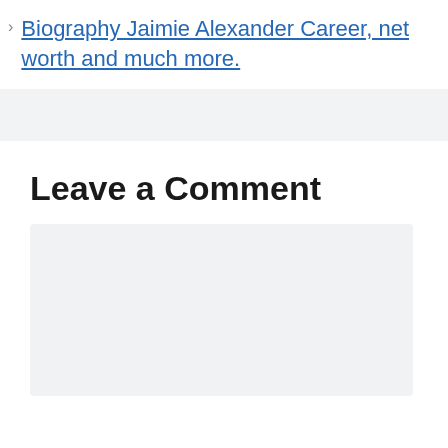Biography Jaimie Alexander Career, net worth and much more.
Leave a Comment